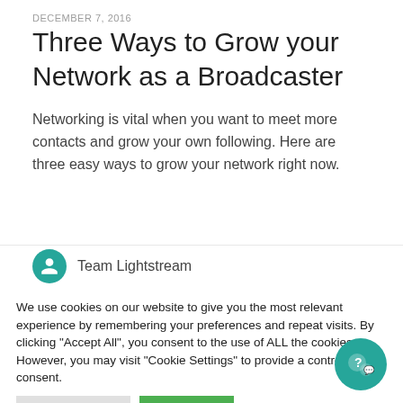DECEMBER 7, 2016
Three Ways to Grow your Network as a Broadcaster
Networking is vital when you want to meet more contacts and grow your own following. Here are three easy ways to grow your network right now.
Team Lightstream
We use cookies on our website to give you the most relevant experience by remembering your preferences and repeat visits. By clicking "Accept All", you consent to the use of ALL the cookies. However, you may visit "Cookie Settings" to provide a controlled consent.